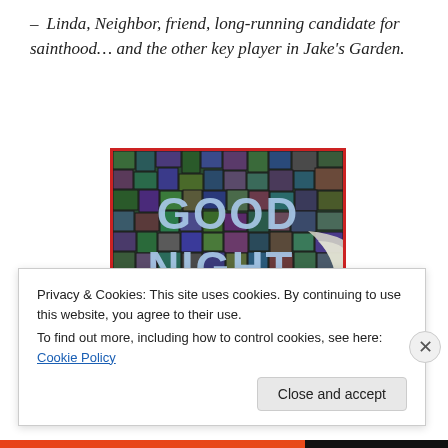– Linda, Neighbor, friend, long-running candidate for sainthood… and the other key player in Jake's Garden.
[Figure (photo): Mosaic artwork showing the words GOOD NIGHT MOON in pale blue tile letters on a dark green/purple mosaic background, with a white crescent moon visible on the right side. Image has a red border.]
Privacy & Cookies: This site uses cookies. By continuing to use this website, you agree to their use.
To find out more, including how to control cookies, see here: Cookie Policy